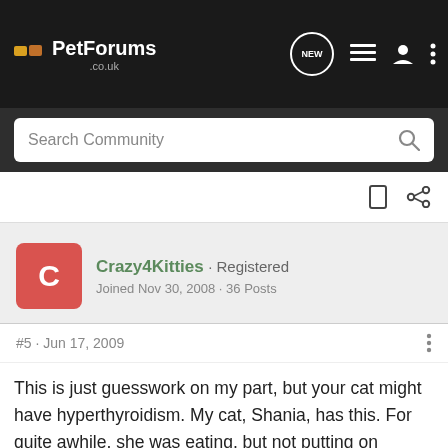PetForums .co.uk
Search Community
Crazy4Kitties · Registered
Joined Nov 30, 2008 · 36 Posts
#5 · Jun 17, 2009
This is just guesswork on my part, but your cat might have hyperthyroidism. My cat, Shania, has this. For quite awhile, she was eating, but not putting on weight. We finally took her to the vet and found out she had hyperthyroidism. That could be the problem with Bubble. I'm not a vet, so I can't really diagnose the